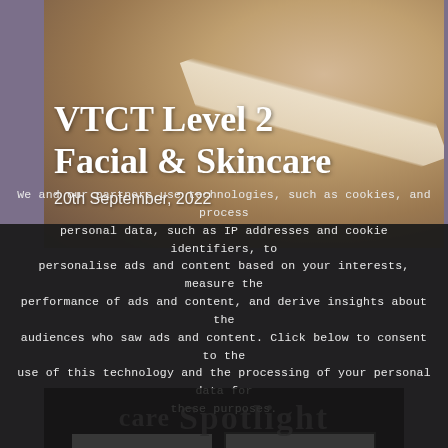[Figure (photo): A person receiving a facial treatment, with a brush being applied to their face. The person is lying down with eyes closed and wearing a white headband.]
VTCT Level 2 Facial & Skincare
20th September, 2022
We and our partners use technologies, such as cookies, and process personal data, such as IP addresses and cookie identifiers, to personalise ads and content based on your interests, measure the performance of ads and content, and derive insights about the audiences who saw ads and content. Click below to consent to the use of this technology and the processing of your personal data for these purposes.
OK
Learn more
[Figure (photo): Partially visible background image with 'skincare' and 'Spotlight' text overlaid in dark.]